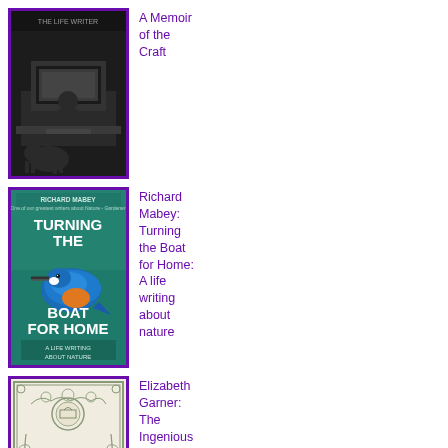[Figure (photo): Black and white photograph used as book cover, showing a person at a desk with equipment, with a dog visible]
A Memoir of the Craft
[Figure (photo): Book cover of 'Turning the Boat for Home' by Richard Mabey, featuring a kingfisher bird on a teal/green background, subtitle 'A Life Writing About Nature']
Richard Mabey: Turning the Boat for Home: A life writing about nature
[Figure (illustration): Book cover of 'The Ingenious Edgar Jones' by Elizabeth Garner, featuring ornate decorative border with botanical/floral designs in grey/green tones on cream background]
Elizabeth Garner: The Ingenious Edgar Jones